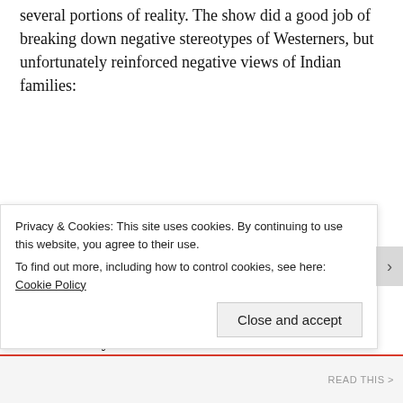several portions of reality. The show did a good job of breaking down negative stereotypes of Westerners, but unfortunately reinforced negative views of Indian families:
Exaggerated View of Dysfunctional Families
Fortunately, many foreigners who have experiences in India know that the dysfunction of the Desai family is not the reality for most Indian households. This show had all the stereotypical “worst case scenario” characters –a vindictive
Privacy & Cookies: This site uses cookies. By continuing to use this website, you agree to their use.
To find out more, including how to control cookies, see here: Cookie Policy
Close and accept